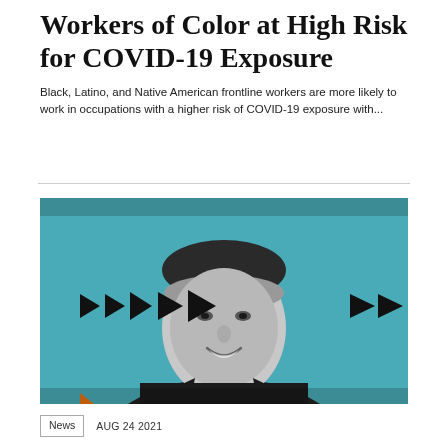Workers of Color at High Risk for COVID-19 Exposure
Black, Latino, and Native American frontline workers are more likely to work in occupations with a higher risk of COVID-19 exposure with...
[Figure (photo): Black and white photo of a smiling man in a dark suit and white shirt, set against a teal/blue background with decorative black triangle arrow shapes arranged in a horizontal band across the middle of the image.]
News   AUG 24 2021